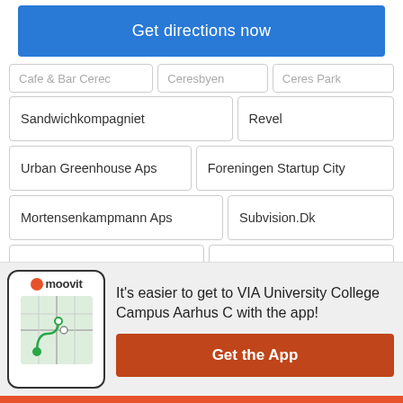Get directions now
Cafe & Bar Cerec
Ceresbyen
Ceres Park
Sandwichkompagniet
Revel
Urban Greenhouse Aps
Foreningen Startup City
Mortensenkampmann Aps
Subvision.Dk
Cw Group Aps
Raket Aps
It's easier to get to VIA University College Campus Aarhus C with the app!
Get the App